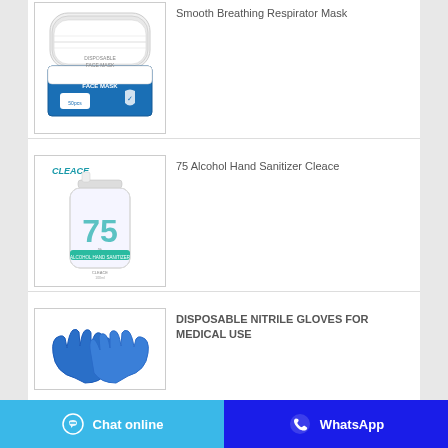[Figure (photo): Disposable face mask product image with box labeled 'DISPOSABLE FACE MASK']
Smooth Breathing Respirator Mask
[Figure (photo): 75 Alcohol Hand Sanitizer Cleace bottle product image]
75 Alcohol Hand Sanitizer Cleace
[Figure (photo): Blue nitrile gloves product image]
DISPOSABLE NITRILE GLOVES FOR MEDICAL USE
Chat online   WhatsApp